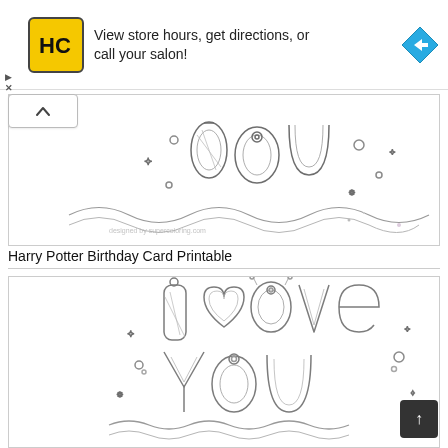[Figure (screenshot): Advertisement banner for HC (Hair Club or similar salon) with logo, text 'View store hours, get directions, or call your salon!' and a blue direction arrow icon]
[Figure (illustration): Partial view of a Harry Potter Birthday Card Printable coloring page showing decorative doodle-style text and characters]
Harry Potter Birthday Card Printable
[Figure (illustration): Coloring page illustration with 'I love you' text rendered in decorative doodle balloon lettering with small characters and hearts]